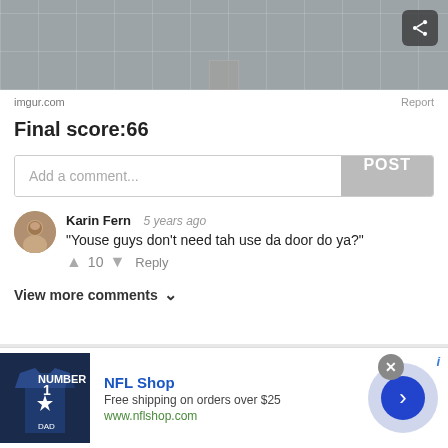[Figure (photo): Stone tile floor/plaza viewed from above, with a pillar base visible]
imgur.com
Report
Final score:66
Add a comment...
POST
Karin Fern  5 years ago
"Youse guys don't need tah use da door do ya?"
10  Reply
View more comments ∨
#42 Welcome To Turkey!
[Figure (screenshot): NFL Shop advertisement showing a Dallas Cowboys jersey, with NFL Shop branding, 'Free shipping on orders over $25', www.nflshop.com, a close button, and a next arrow button]